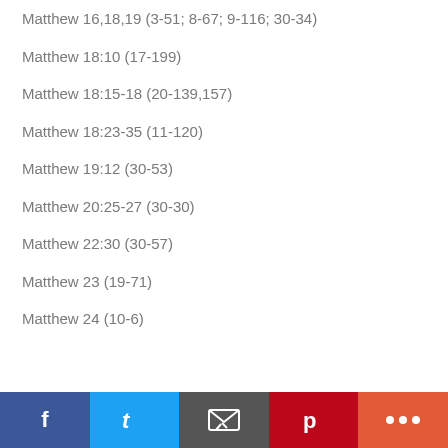Matthew 16,18,19 (3-51; 8-67; 9-116; 30-34)
Matthew 18:10 (17-199)
Matthew 18:15-18 (20-139,157)
Matthew 18:23-35 (11-120)
Matthew 19:12 (30-53)
Matthew 20:25-27 (30-30)
Matthew 22:30 (30-57)
Matthew 23 (19-71)
Matthew 24 (10-6)